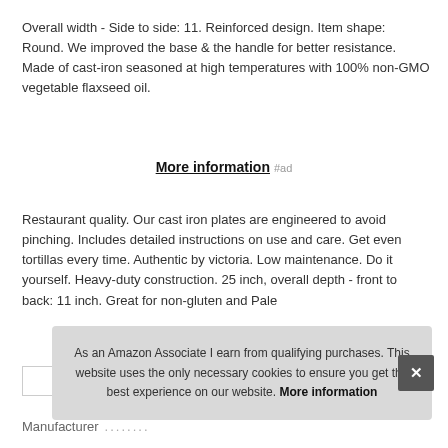Overall width - Side to side: 11. Reinforced design. Item shape: Round. We improved the base & the handle for better resistance. Made of cast-iron seasoned at high temperatures with 100% non-GMO vegetable flaxseed oil.
More information #ad
Restaurant quality. Our cast iron plates are engineered to avoid pinching. Includes detailed instructions on use and care. Get even tortillas every time. Authentic by victoria. Low maintenance. Do it yourself. Heavy-duty construction. 25 inch, overall depth - front to back: 11 inch. Great for non-gluten and Pale
As an Amazon Associate I earn from qualifying purchases. This website uses the only necessary cookies to ensure you get the best experience on our website. More information
Manufacturer ........